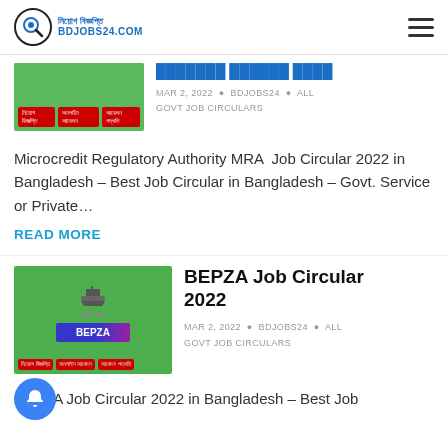BDJOBS24.COM
[Figure (screenshot): Partial thumbnail of a job circular card with green background and red buttons showing Bengali text]
MAR 2, 2022 • BDJOBS24 • ALL GOVT JOB CIRCULARS
Microcredit Regulatory Authority MRA  Job Circular 2022 in Bangladesh – Best Job Circular in Bangladesh – Govt. Service or Private…
READ MORE
[Figure (screenshot): BEPZA thumbnail with green background, ship icon, BEPZA label in blue-purple gradient, and red buttons with Bengali text]
BEPZA Job Circular 2022
MAR 2, 2022 • BDJOBS24 • ALL GOVT JOB CIRCULARS
BEPZA Job Circular 2022 in Bangladesh – Best Job